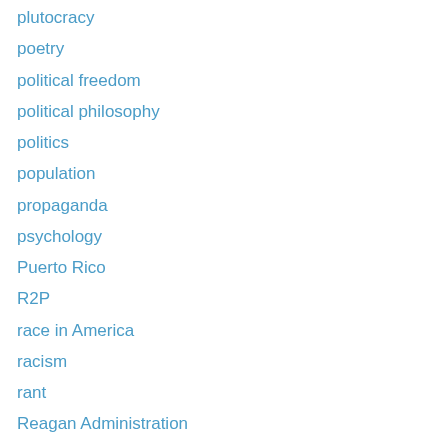plutocracy
poetry
political freedom
political philosophy
politics
population
propaganda
psychology
Puerto Rico
R2P
race in America
racism
rant
Reagan Administration
reflection
religion
revolution
Russian-Ukrainian War
samurai
satire